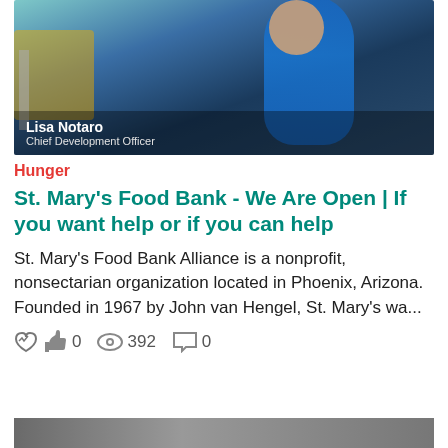[Figure (photo): Photo of Lisa Notaro, Chief Development Officer, a woman in a blue dress standing in front of a vehicle/building, with a lower-third graphic overlay showing her name and title.]
Hunger
St. Mary's Food Bank - We Are Open | If you want help or if you can help
St. Mary's Food Bank Alliance is a nonprofit, nonsectarian organization located in Phoenix, Arizona. Founded in 1967 by John van Hengel, St. Mary's wa...
0   392   0
[Figure (photo): Partial bottom preview of another article image, cropped.]